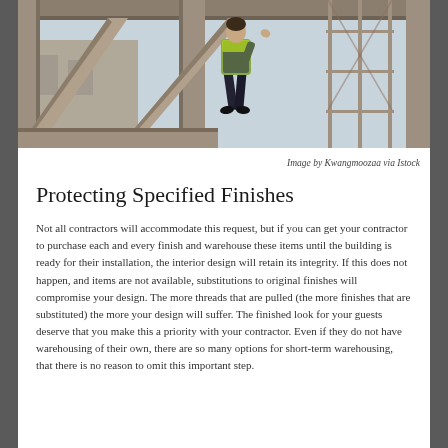[Figure (photo): Construction worker in yellow safety vest standing on concrete beams of a building under construction, with scaffolding visible in the background.]
Image by Kwangmoozaa via Istock
Protecting Specified Finishes
Not all contractors will accommodate this request, but if you can get your contractor to purchase each and every finish and warehouse these items until the building is ready for their installation, the interior design will retain its integrity.  If this does not happen, and items are not available, substitutions to original finishes will compromise your design.  The more threads that are pulled (the more finishes that are substituted) the more your design will suffer.  The finished look for your guests deserve that you make this a priority with your contractor.  Even if they do not have warehousing of their own, there are so many options for short-term warehousing, that there is no reason to omit this important step.